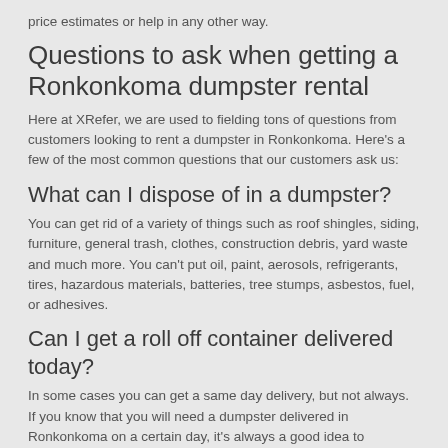price estimates or help in any other way.
Questions to ask when getting a Ronkonkoma dumpster rental
Here at XRefer, we are used to fielding tons of questions from customers looking to rent a dumpster in Ronkonkoma. Here's a few of the most common questions that our customers ask us:
What can I dispose of in a dumpster?
You can get rid of a variety of things such as roof shingles, siding, furniture, general trash, clothes, construction debris, yard waste and much more. You can't put oil, paint, aerosols, refrigerants, tires, hazardous materials, batteries, tree stumps, asbestos, fuel, or adhesives.
Can I get a roll off container delivered today?
In some cases you can get a same day delivery, but not always. If you know that you will need a dumpster delivered in Ronkonkoma on a certain day, it's always a good idea to schedule it a few weeks in advance to make sure there is availability.